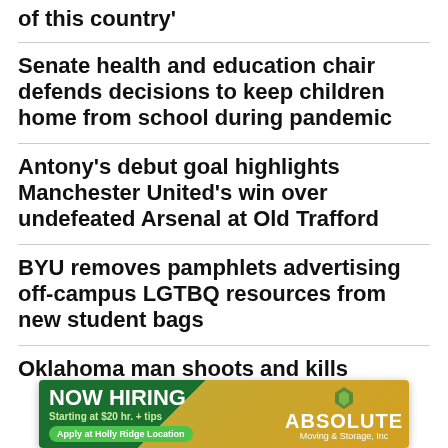of this country'
Senate health and education chair defends decisions to keep children home from school during pandemic
Antony's debut goal highlights Manchester United's win over undefeated Arsenal at Old Trafford
BYU removes pamphlets advertising off-campus LGTBQ resources from new student bags
Oklahoma man shoots and kills
[Figure (infographic): Advertisement banner: NOW HIRING, Starting at $20 hr. + tips, Apply at Holly Ridge Location, Absolute Moving & Storage, Inc]